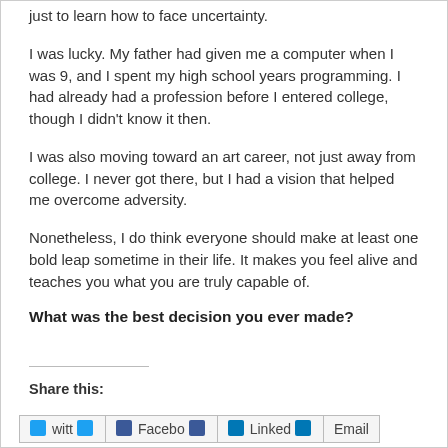just to learn how to face uncertainty.
I was lucky. My father had given me a computer when I was 9, and I spent my high school years programming. I had already had a profession before I entered college, though I didn't know it then.
I was also moving toward an art career, not just away from college. I never got there, but I had a vision that helped me overcome adversity.
Nonetheless, I do think everyone should make at least one bold leap sometime in their life. It makes you feel alive and teaches you what you are truly capable of.
What was the best decision you ever made?
Share this:
Twitter Facebook LinkedIn Email